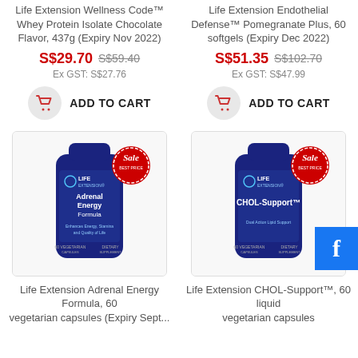Life Extension Wellness Code™ Whey Protein Isolate Chocolate Flavor, 437g (Expiry Nov 2022)
S$29.70  S$59.40  Ex GST: S$27.76
ADD TO CART
Life Extension Endothelial Defense™ Pomegranate Plus, 60 softgels (Expiry Dec 2022)
S$51.35  S$102.70  Ex GST: S$47.99
ADD TO CART
[Figure (photo): Life Extension Adrenal Energy Formula supplement bottle, 60 vegetarian capsules, with Sale Best Price badge]
Life Extension Adrenal Energy Formula, 60 vegetarian capsules (Expiry Sept...
[Figure (photo): Life Extension CHOL-Support supplement bottle, 60 liquid vegetarian capsules, with Sale Best Price badge]
Life Extension CHOL-Support™, 60 liquid vegetarian capsules